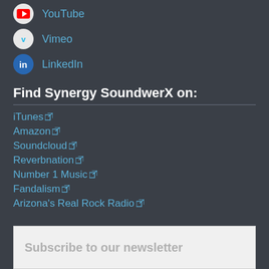YouTube
Vimeo
LinkedIn
Find Synergy SoundwerX on:
iTunes
Amazon
Soundcloud
Reverbnation
Number 1 Music
Fandalism
Arizona's Real Rock Radio
Subscribe to our newsletter